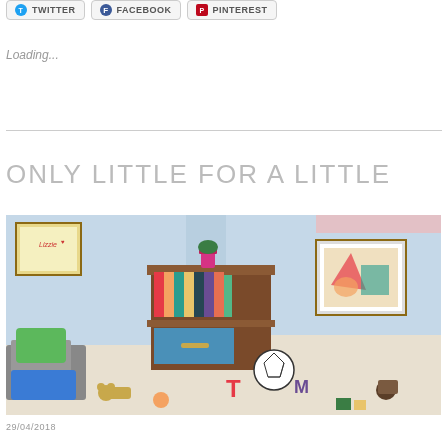[Figure (other): Social share buttons: Twitter, Facebook, Pinterest]
Loading...
ONLY LITTLE FOR A LITTLE
[Figure (illustration): Color pencil drawing of a child's bedroom with a bookshelf containing colorful books, a pink vase on top, a framed picture on the wall reading 'Lizzie', a soccer ball, toys and letters scattered on the floor, a green cushion on a couch, and a framed picture on the right wall.]
29/04/2018